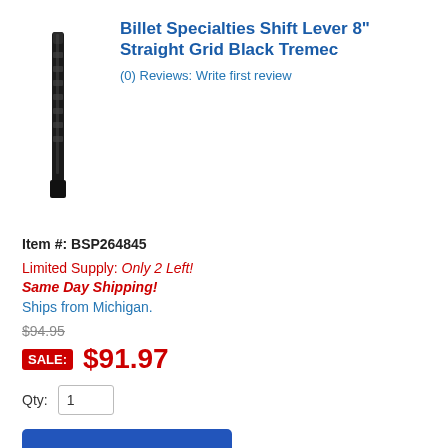[Figure (photo): A black billet shift lever, long and narrow, photographed against a white background.]
Billet Specialties Shift Lever 8" Straight Grid Black Tremec
(0) Reviews: Write first review
Item #: BSP264845
Limited Supply: Only 2 Left!
Same Day Shipping!
Ships from Michigan.
$94.95
SALE: $91.97
Qty: 1
Add To Cart